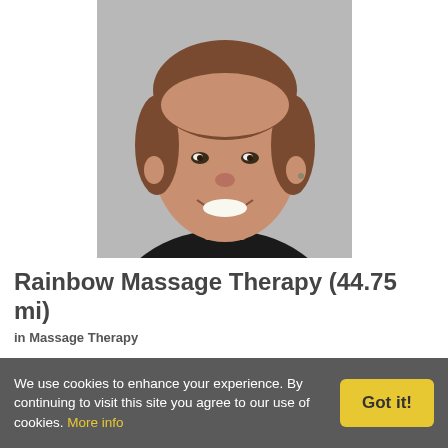[Figure (photo): Headshot of a smiling middle-aged man with short brown hair wearing a black shirt, against a gray background]
Rainbow Massage Therapy (44.75 mi)
in Massage Therapy
Massage Tailored to Your Bodies Needs Specializing in Neck, Shoulders, Lower Back & Sciatic Issues
We use cookies to enhance your experience. By continuing to visit this site you agree to our use of cookies. More info